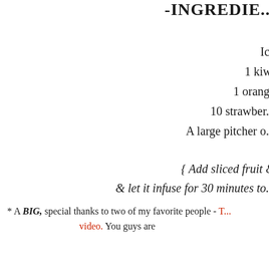-INGREDIENTS-
Ice
1 kiwi
1 orange
10 strawberries
A large pitcher of
{ Add sliced fruit & let it infuse for 30 minutes to
* A BIG, special thanks to two of my favorite people - T[...] video. You guys are